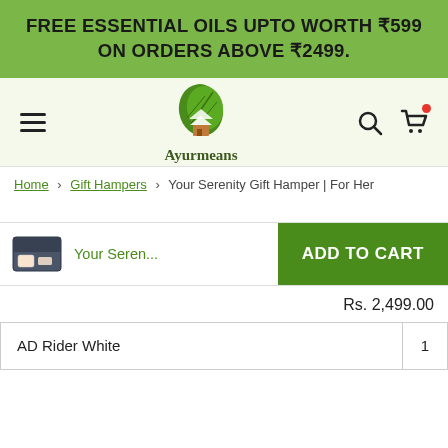FREE ESSENTIAL OILS UPTO WORTH ₹599 ON ORDERS ABOVE ₹2499.
[Figure (logo): Ayurmeans logo — green leaf with a house icon inside, text 'Ayurmeans' below]
Home › Gift Hampers › Your Serenity Gift Hamper | For Her
[Figure (photo): Small product image of gift hamper box]
Your Seren...
ADD TO CART
Rs. 2,499.00
|  |  |
| --- | --- |
| AD Rider White | 1 |